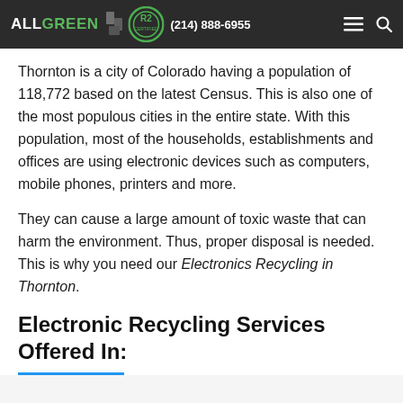ALL GREEN | R2 | (214) 888-6955
Thornton is a city of Colorado having a population of 118,772 based on the latest Census. This is also one of the most populous cities in the entire state. With this population, most of the households, establishments and offices are using electronic devices such as computers, mobile phones, printers and more.
They can cause a large amount of toxic waste that can harm the environment. Thus, proper disposal is needed. This is why you need our Electronics Recycling in Thornton.
Electronic Recycling Services Offered In: